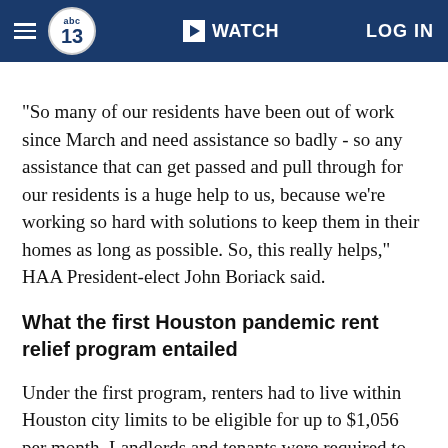abc13 WATCH LOG IN
"So many of our residents have been out of work since March and need assistance so badly - so any assistance that can get passed and pull through for our residents is a huge help to us, because we're working so hard with solutions to keep them in their homes as long as possible. So, this really helps," HAA President-elect John Boriack said.
What the first Houston pandemic rent relief program entailed
Under the first program, renters had to live within Houston city limits to be eligible for up to $1,056 per month. Landlords and tenants were required to sign